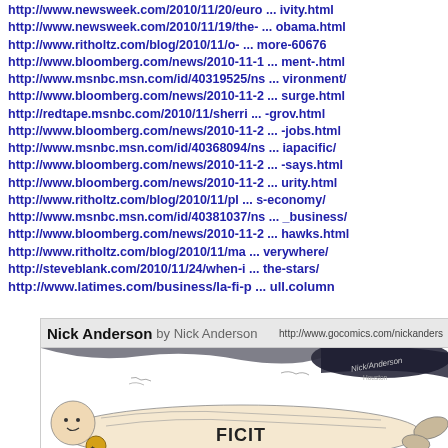http://www.newsweek.com/2010/11/20/euro ... ivity.html
http://www.newsweek.com/2010/11/19/the- ... obama.html
http://www.ritholtz.com/blog/2010/11/o- ... more-60676
http://www.bloomberg.com/news/2010-11-1 ... ment-.html
http://www.msnbc.msn.com/id/40319525/ns ... vironment/
http://www.bloomberg.com/news/2010-11-2 ... surge.html
http://redtape.msnbc.com/2010/11/sherri ... -grov.html
http://www.bloomberg.com/news/2010-11-2 ... -jobs.html
http://www.msnbc.msn.com/id/40368094/ns ... iapacific/
http://www.bloomberg.com/news/2010-11-2 ... -says.html
http://www.bloomberg.com/news/2010-11-2 ... urity.html
http://www.ritholtz.com/blog/2010/11/pl ... s-economy/
http://www.msnbc.msn.com/id/40381037/ns ... _business/
http://www.bloomberg.com/news/2010-11-2 ... hawks.html
http://www.ritholtz.com/blog/2010/11/ma ... verywhere/
http://steveblank.com/2010/11/24/when-i ... the-stars/
http://www.latimes.com/business/la-fi-p ... ull.column
[Figure (illustration): Nick Anderson political cartoon by Nick Anderson from gocomics.com, showing a figure labeled FICIT (presumably DEFICIT) lying on the ground, with dark sketchy illustration style and Nick Anderson's signature.]